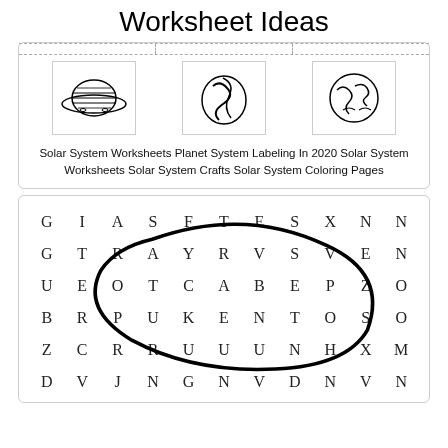Worksheet Ideas
[Figure (illustration): Three planet/space illustrations in bordered boxes with dashed dividers above]
Solar System Worksheets Planet System Labeling In 2020 Solar System Worksheets Solar System Crafts Solar System Coloring Pages
[Figure (other): Word search grid with letters G I A S F T E S X N / G T R A Y R V S V E N / U E O T C A B E P Z O / B R P U K E N T O S O / Z C R R U U U N H X M with an oval drawn around some letters]